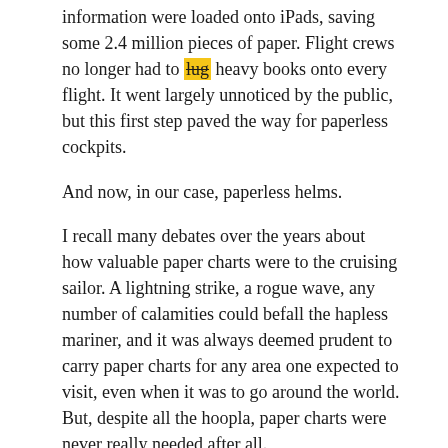information were loaded onto iPads, saving some 2.4 million pieces of paper. Flight crews no longer had to lug heavy books onto every flight. It went largely unnoticed by the public, but this first step paved the way for paperless cockpits.
And now, in our case, paperless helms.
I recall many debates over the years about how valuable paper charts were to the cruising sailor. A lightning strike, a rogue wave, any number of calamities could befall the hapless mariner, and it was always deemed prudent to carry paper charts for any area one expected to visit, even when it was to go around the world. But, despite all the hoopla, paper charts were never really needed after all.
I have two relevant stories to pass along. And I believe they put things in perspective for those who still feel distraught that paper charts are going away.